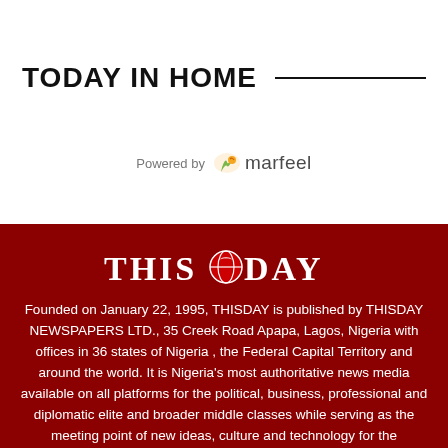TODAY IN HOME
[Figure (logo): Powered by marfeel logo with green leaf icon]
[Figure (logo): THISDAY newspaper logo in serif capitals with stylized graphic between THIS and DAY]
Founded on January 22, 1995, THISDAY is published by THISDAY NEWSPAPERS LTD., 35 Creek Road Apapa, Lagos, Nigeria with offices in 36 states of Nigeria , the Federal Capital Territory and around the world. It is Nigeria's most authoritative news media available on all platforms for the political, business, professional and diplomatic elite and broader middle classes while serving as the meeting point of new ideas, culture and technology for the aspirationals and millennials. The newspaper is a public trust dedicated to the pursuit of truth and reason covering a range of issues from breaking news to politics, business, the markets, the